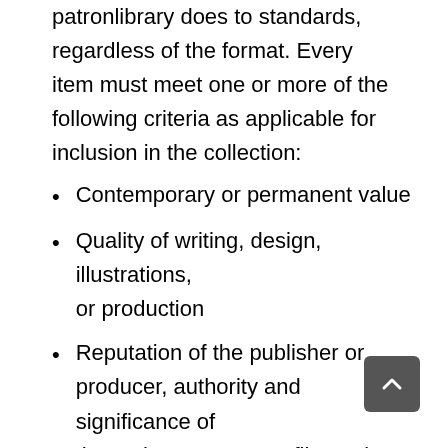patronlibrary does to standards, regardless of the format. Every item must meet one or more of the following criteria as applicable for inclusion in the collection:
Contemporary or permanent value
Quality of writing, design, illustrations, or production
Reputation of the publisher or producer, authority and significance of the author, composer, film maker, etc.
Relevance to community needs, potential, and/or known demand for the material
Cost ($)